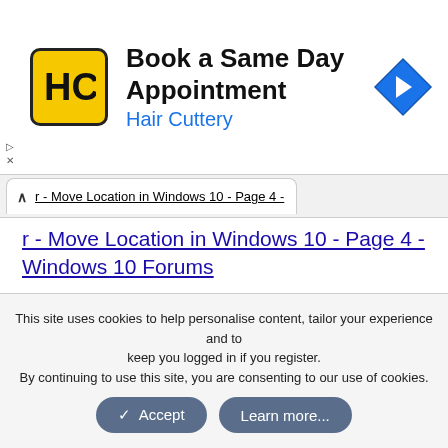[Figure (screenshot): Advertisement banner for Hair Cuttery with logo, text 'Book a Same Day Appointment' and 'Hair Cuttery', and a blue navigation arrow icon.]
r - Move Location in Windows 10 - Page 4 - Windows 10 Forums
Scroll down a bit until you find a new paragraph starting with "What happens if Sysprep finds an existing Users folder", and read from there to the end of that post.
That should answer your question.
This site uses cookies to help personalise content, tailor your experience and to keep you logged in if you register.
By continuing to use this site, you are consenting to our use of cookies.